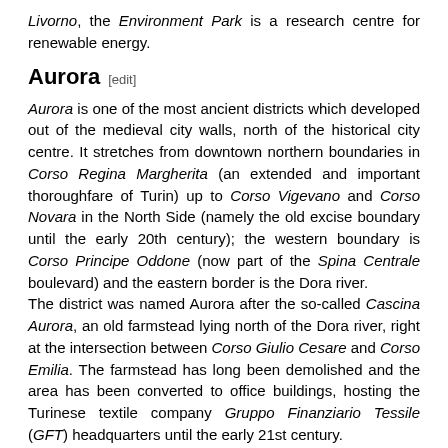Livorno, the Environment Park is a research centre for renewable energy.
Aurora [edit]
Aurora is one of the most ancient districts which developed out of the medieval city walls, north of the historical city centre. It stretches from downtown northern boundaries in Corso Regina Margherita (an extended and important thoroughfare of Turin) up to Corso Vigevano and Corso Novara in the North Side (namely the old excise boundary until the early 20th century); the western boundary is Corso Principe Oddone (now part of the Spina Centrale boulevard) and the eastern border is the Dora river. The district was named Aurora after the so-called Cascina Aurora, an old farmstead lying north of the Dora river, right at the intersection between Corso Giulio Cesare and Corso Emilia. The farmstead has long been demolished and the area has been converted to office buildings, hosting the Turinese textile company Gruppo Finanziario Tessile (GFT) headquarters until the early 21st century. The historical hub of the district is Borgo Dora (The "Borgo Doraudo") a small neighbourhood adjacent to Porta ...